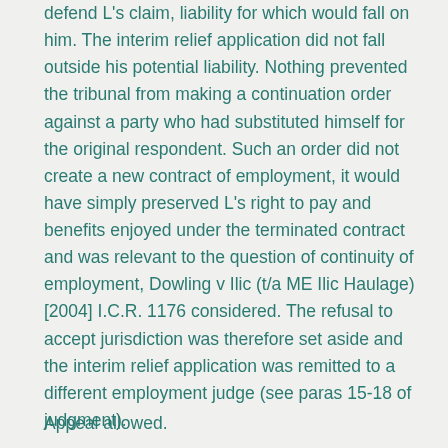defend L's claim, liability for which would fall on him. The interim relief application did not fall outside his potential liability. Nothing prevented the tribunal from making a continuation order against a party who had substituted himself for the original respondent. Such an order did not create a new contract of employment, it would have simply preserved L's right to pay and benefits enjoyed under the terminated contract and was relevant to the question of continuity of employment, Dowling v Ilic (t/a ME Ilic Haulage) [2004] I.C.R. 1176 considered. The refusal to accept jurisdiction was therefore set aside and the interim relief application was remitted to a different employment judge (see paras 15-18 of judgment).
Appeal allowed.